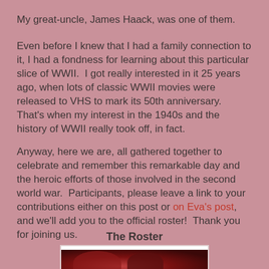My great-uncle, James Haack, was one of them.
Even before I knew that I had a family connection to it, I had a fondness for learning about this particular slice of WWII.  I got really interested in it 25 years ago, when lots of classic WWII movies were released to VHS to mark its 50th anniversary.  That's when my interest in the 1940s and the history of WWII really took off, in fact.
Anyway, here we are, all gathered together to celebrate and remember this remarkable day and the heroic efforts of those involved in the second world war.  Participants, please leave a link to your contributions either on this post or on Eva's post, and we'll add you to the official roster!  Thank you for joining us.
The Roster
[Figure (photo): A red-toned vintage photograph showing what appears to be people, possibly a WWII era image, partially visible at the bottom of the page]